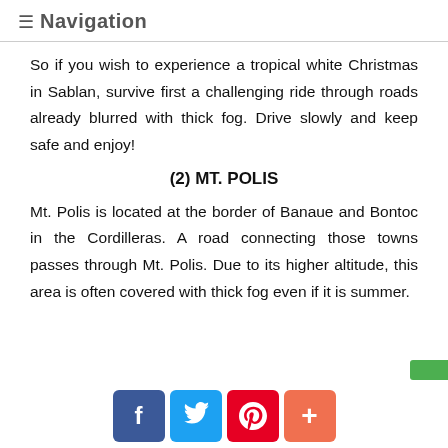≡ Navigation
So if you wish to experience a tropical white Christmas in Sablan, survive first a challenging ride through roads already blurred with thick fog. Drive slowly and keep safe and enjoy!
(2) MT. POLIS
Mt. Polis is located at the border of Banaue and Bontoc in the Cordilleras. A road connecting those towns passes through Mt. Polis. Due to its higher altitude, this area is often covered with thick fog even if it is summer.
Social share buttons: Facebook, Twitter, Pinterest, Plus